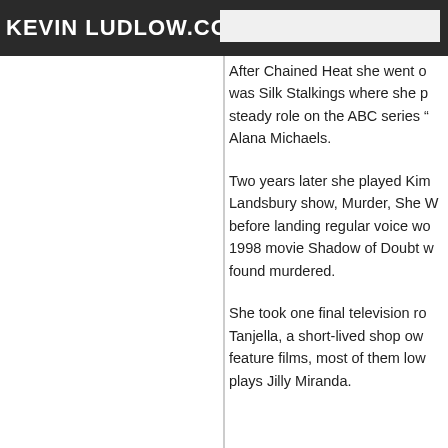KEVIN LUDLOW.COM
After Chained Heat she went on was Silk Stalkings where she p steady role on the ABC series " Alana Michaels.
Two years later she played Kim Landsbury show, Murder, She W before landing regular voice wo 1998 movie Shadow of Doubt w found murdered.
She took one final television ro Tanjella, a short-lived shop own feature films, most of them low plays Jilly Miranda.